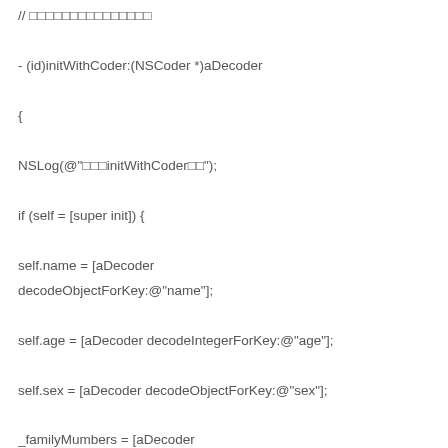// [code content showing initWithCoder: method implementation]